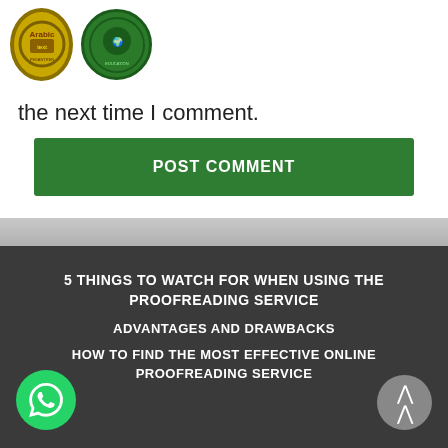[Figure (logo): Two circular logos - an Islamic institution logo in gold/yellow and a green school/education logo]
the next time I comment.
POST COMMENT
5 THINGS TO WATCH FOR WHEN USING THE PROOFREADING SERVICE
ADVANTAGES AND DRAWBACKS
HOW TO FIND THE MOST EFFECTIVE ONLINE PROOFREADING SERVICE